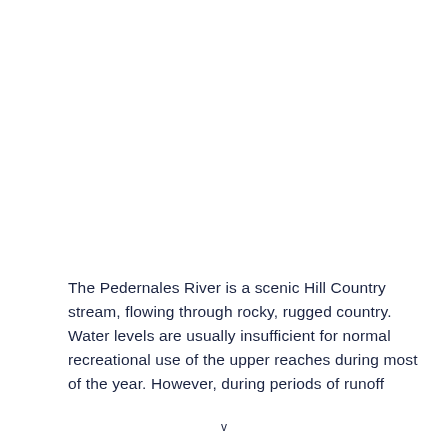The Pedernales River is a scenic Hill Country stream, flowing through rocky, rugged country. Water levels are usually insufficient for normal recreational use of the upper reaches during most of the year. However, during periods of runoff
v